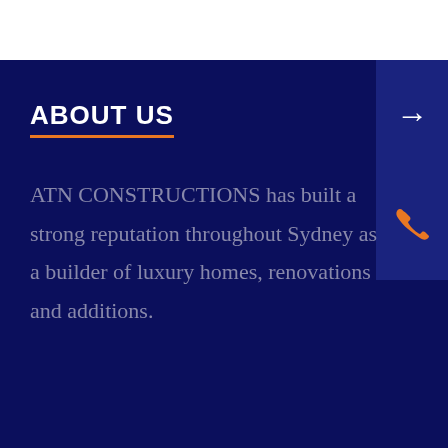ABOUT US
ATN CONSTRUCTIONS has built a strong reputation throughout Sydney as a builder of luxury homes, renovations and additions.